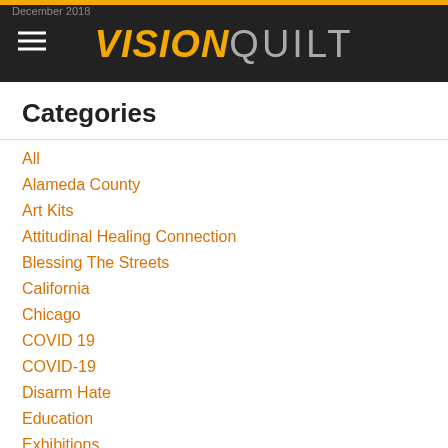December 2018 — VISIONQUILT
Categories
All
Alameda County
Art Kits
Attitudinal Healing Connection
Blessing The Streets
California
Chicago
COVID 19
COVID-19
Disarm Hate
Education
Exhibitions
Gun Violence
Gun Violence Statistics
Incarcerated Youth